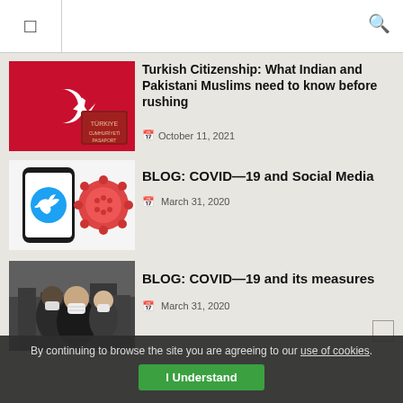[Site logo / navigation header with search icon]
[Figure (photo): Turkish flag with crescent and star, and a red Turkish passport on the flag]
Turkish Citizenship: What Indian and Pakistani Muslims need to know before rushing
October 11, 2021
[Figure (photo): Smartphone showing Twitter bird logo next to a COVID-19 coronavirus illustration]
BLOG: COVID—19 and Social Media
March 31, 2020
[Figure (photo): People wearing face masks outdoors during COVID-19 pandemic]
BLOG: COVID—19 and its measures
March 31, 2020
By continuing to browse the site you are agreeing to our use of cookies. I Understand